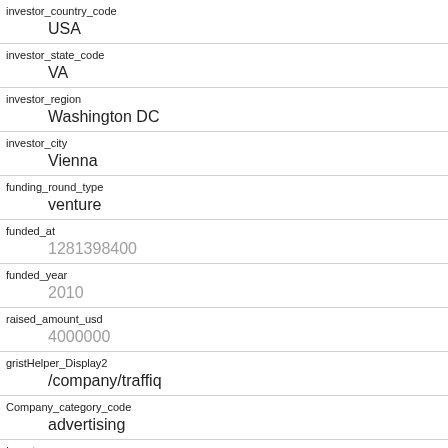| Field | Value |
| --- | --- |
| investor_country_code | USA |
| investor_state_code | VA |
| investor_region | Washington DC |
| investor_city | Vienna |
| funding_round_type | venture |
| funded_at | 1281398400 |
| funded_year | 2010 |
| raised_amount_usd | 4000000 |
| gristHelper_Display2 | /company/traffiq |
| Company_category_code | advertising |
| Investor |  |